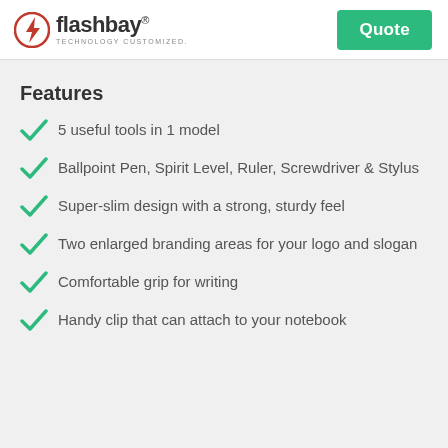flashbay® TECHNOLOGY CUSTOMIZED. | Quote
Features
5 useful tools in 1 model
Ballpoint Pen, Spirit Level, Ruler, Screwdriver & Stylus
Super-slim design with a strong, sturdy feel
Two enlarged branding areas for your logo and slogan
Comfortable grip for writing
Handy clip that can attach to your notebook